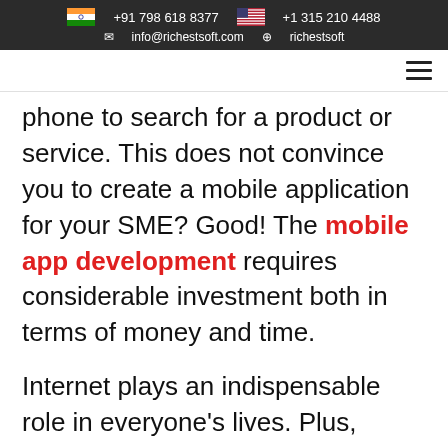+91 798 618 8377  +1 315 210 4488  info@richestsoft.com  richestsoft
phone to search for a product or service. This does not convince you to create a mobile application for your SME? Good! The mobile app development requires considerable investment both in terms of money and time.
Internet plays an indispensable role in everyone's lives. Plus, almost every person is dependent on the web in any way. The internet is one of the best sources of the communication